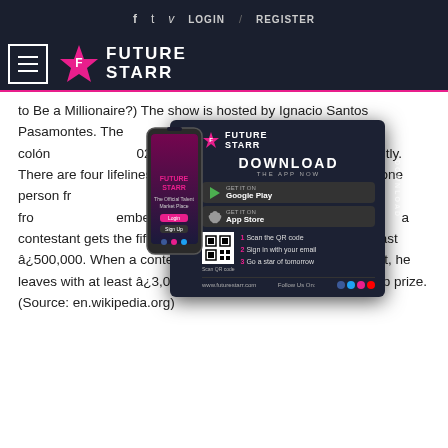f  t  v  LOGIN / REGISTER
[Figure (logo): Future Starr logo with star icon and text]
to Be a Millionaire?) The show is hosted by Ignacio Santos Pasamontes. The... win 30,000,000 Costa Rican colón... (2020) by answering 15 mu... ...tly. There are four lifelines – fifty... ...audience and ask one person fr... ...ser millonario? was broadcast fro... ...ember 2013. It is shown on the priv... ...a contestant gets the fifth question correct, he leaves with at least â¿500,000. When a contestant gets the tenth question correct, he leaves with at least â¿3,000,000. Only one contestant won top prize. (Source: en.wikipedia.org)
[Figure (screenshot): Future Starr app advertisement with phone mockup, download buttons for Google Play and App Store, QR code, and steps to scan, login and become a star of tomorrow]